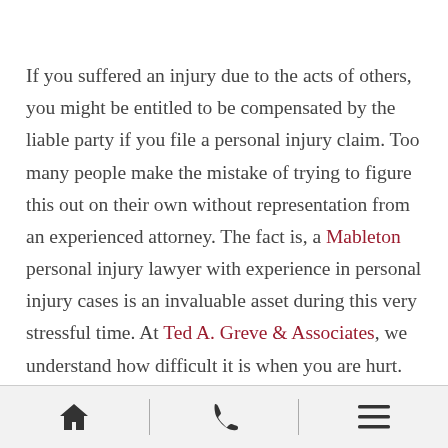If you suffered an injury due to the acts of others, you might be entitled to be compensated by the liable party if you file a personal injury claim. Too many people make the mistake of trying to figure this out on their own without representation from an experienced attorney. The fact is, a Mableton personal injury lawyer with experience in personal injury cases is an invaluable asset during this very stressful time. At Ted A. Greve & Associates, we understand how difficult it is when you are hurt. We will take charge of your case and deal with all of the legalities involved in filing your claim so you can focus your energy in your recovery. We will
[home icon] | [phone icon] | [menu icon]